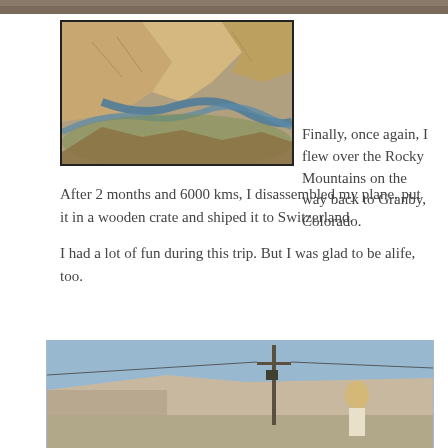[Figure (photo): Aerial photo strip at top of page showing landscape]
[Figure (photo): Aerial photograph of the Rocky Mountains showing a winding river through canyon terrain, bordered with dark frame]
Finally, once again, I flew over the Rocky Mountains on the way back to Granby, Colorado.

After 2 months and 6000 kms, I disassembled my plane, put it in a wooden crate and shiped it to Switzerland.
I had a lot of fun during this trip. But I was glad to be alife, too.
[Figure (photo): Photo of a person standing outdoors near a building with a blue sky, partially cropped at bottom of page]